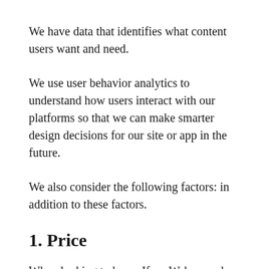We have data that identifies what content users want and need.
We use user behavior analytics to understand how users interact with our platforms so that we can make smarter design decisions for our site or app in the future.
We also consider the following factors: in addition to these factors.
1. Price
When looking to buy a Ifroo Webcams, be sure to compare prices between sellers to